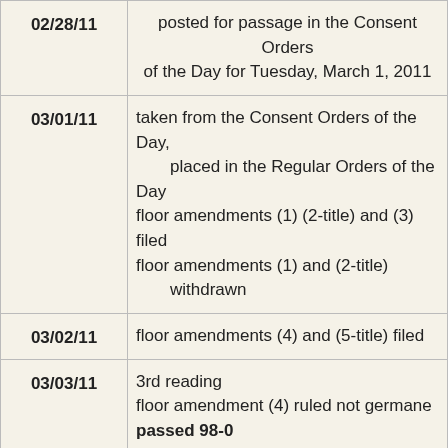| Date | Action |
| --- | --- |
| 02/28/11 | posted for passage in the Consent Orders of the Day for Tuesday, March 1, 2011 |
| 03/01/11 | taken from the Consent Orders of the Day, placed in the Regular Orders of the Day
floor amendments (1) (2-title) and (3) filed
floor amendments (1) and (2-title) withdrawn |
| 03/02/11 | floor amendments (4) and (5-title) filed |
| 03/03/11 | 3rd reading
floor amendment (4) ruled not germane
passed 98-0
received in Senate
enrolled, signed by President of the Senate |
| 03/04/11 | enrolled, signed by Speaker of the House
delivered to Governor |